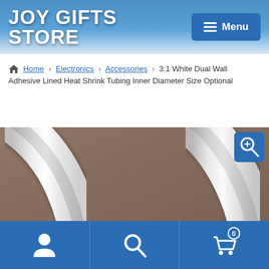JOY GIFTS STORE
Home > Electronics > Accessories > 3:1 White Dual Wall Adhesive Lined Heat Shrink Tubing Inner Diameter Size Optional
[Figure (photo): Close-up photo of white heat shrink tubing pieces against a brown background, with a blue magnify/zoom button in the top-right corner]
User account | Search | Shopping cart (0)